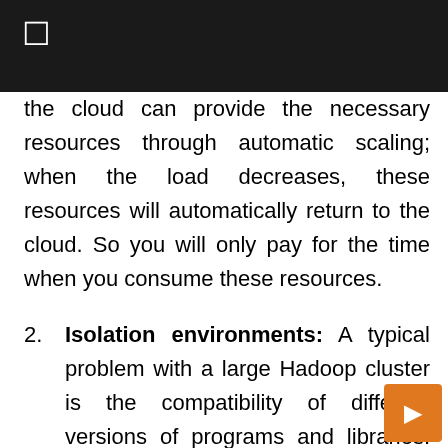the cloud can provide the necessary resources through automatic scaling; when the load decreases, these resources will automatically return to the cloud. So you will only pay for the time when you consume these resources.
2. Isolation environments: A typical problem with a large Hadoop cluster is the compatibility of different versions of programs and libraries. For example, you are currently using Spark 2.4; all your threads and applications have been tested and work in this version. Version 3 is coming out, and updating Spark on a